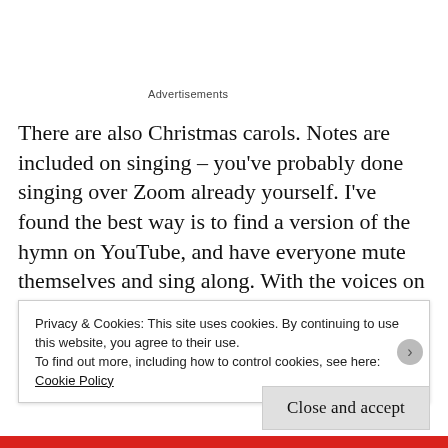Advertisements
There are also Christmas carols. Notes are included on singing – you’ve probably done singing over Zoom already yourself. I’ve found the best way is to find a version of the hymn on YouTube, and have everyone mute themselves and sing along. With the voices on YouTube, you don’t feel like you’re the only one singing, as you would with an instrumental backing
Privacy & Cookies: This site uses cookies. By continuing to use this website, you agree to their use.
To find out more, including how to control cookies, see here:
Cookie Policy
Close and accept